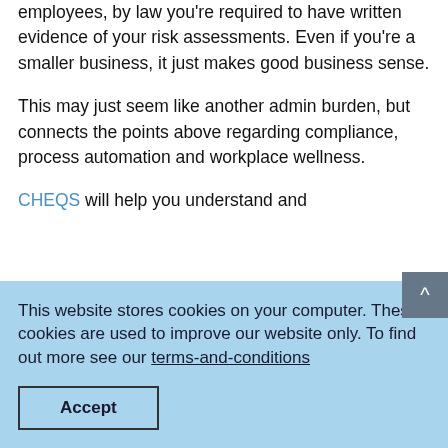employees, by law you're required to have written evidence of your risk assessments. Even if you're a smaller business, it just makes good business sense.
This may just seem like another admin burden, but connects the points above regarding compliance, process automation and workplace wellness.
CHEQS will help you understand and
This website stores cookies on your computer. These cookies are used to improve our website only. To find out more see our terms-and-conditions